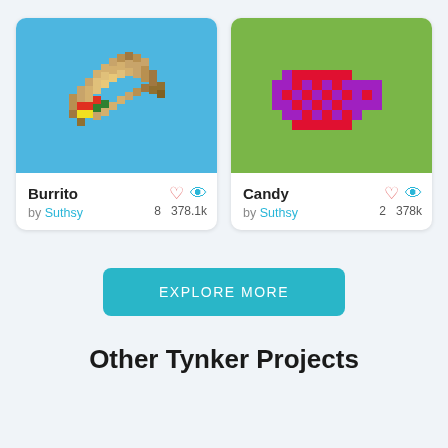[Figure (illustration): Pixel art burrito on blue background]
Burrito
by Suthsy
8  378.1k
[Figure (illustration): Pixel art candy on green background]
Candy
by Suthsy
2  378k
EXPLORE MORE
Other Tynker Projects